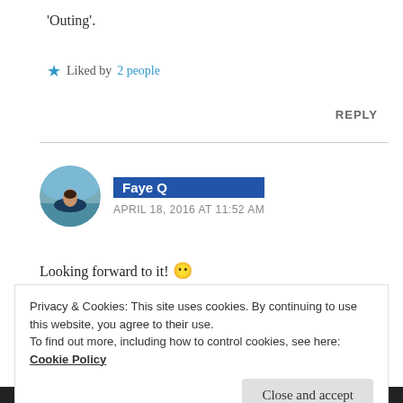'Outing'.
★ Liked by 2 people
REPLY
Faye Q
APRIL 18, 2016 AT 11:52 AM
Looking forward to it! 😶
Privacy & Cookies: This site uses cookies. By continuing to use this website, you agree to their use.
To find out more, including how to control cookies, see here:
Cookie Policy
Close and accept